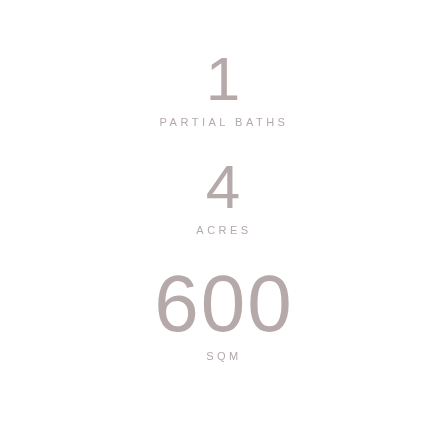1
PARTIAL BATHS
4
ACRES
600
SQM